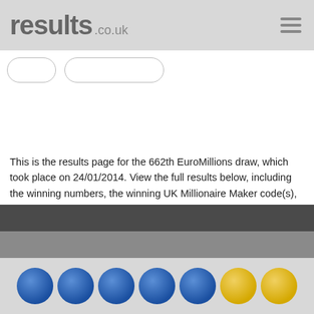results.co.uk
[Figure (other): Two pill-shaped navigation buttons (one small, one wide) on white background]
This is the results page for the 662th EuroMillions draw, which took place on 24/01/2014. View the full results below, including the winning numbers, the winning UK Millionaire Maker code(s), and a detailed breakdown of all the prizes won. Go to the EuroMillions Results page to see the winning numbers and raffle codes from the latest draws.
[Figure (other): Dark gray bar, medium gray bar, and a light gray strip with 5 blue lottery balls and 2 yellow lottery balls]